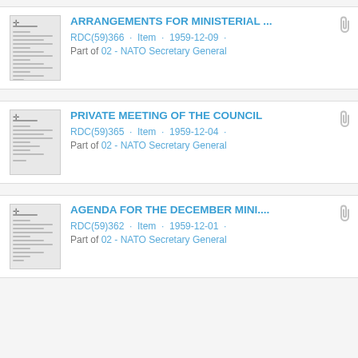ARRANGEMENTS FOR MINISTERIAL ... RDC(59)366 · Item · 1959-12-09 · Part of 02 - NATO Secretary General
PRIVATE MEETING OF THE COUNCIL RDC(59)365 · Item · 1959-12-04 · Part of 02 - NATO Secretary General
AGENDA FOR THE DECEMBER MINI.... RDC(59)362 · Item · 1959-12-01 · Part of 02 - NATO Secretary General